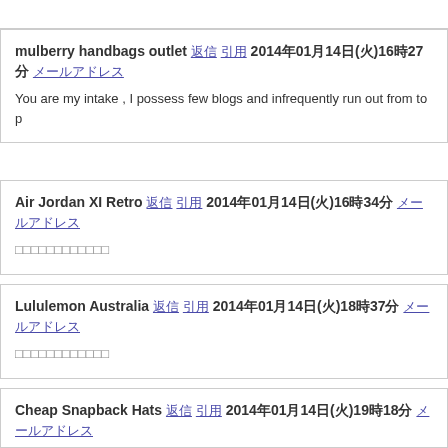mulberry handbags outlet 返信 引用 2014年01月14日(火)16時27分 メールアドレス
You are my intake , I possess few blogs and infrequently run out from to p
Air Jordan XI Retro 返信 引用 2014年01月14日(火)16時34分 メールアドレス
□□□□□□□□□□□□
Lululemon Australia 返信 引用 2014年01月14日(火)18時37分 メールアドレス
□□□□□□□□□□□□
Cheap Snapback Hats 返信 引用 2014年01月14日(火)19時18分 メールアドレス
I must show my appreciation to this writer just for bailing me out of this pa throughout the the net and meeting opinions which were not powerful, I b devoid of the solutions to the issues you have resolved as a result of you kind that would have negatively affected my career if I hadn't discovered kindness in playing with everything was very useful. I don't know what I w such a solution like this. I am able to at this moment relish my future Th